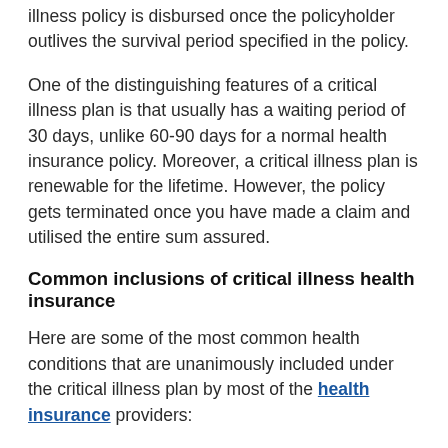illness policy is disbursed once the policyholder outlives the survival period specified in the policy.
One of the distinguishing features of a critical illness plan is that usually has a waiting period of 30 days, unlike 60-90 days for a normal health insurance policy. Moreover, a critical illness plan is renewable for the lifetime. However, the policy gets terminated once you have made a claim and utilised the entire sum assured.
Common inclusions of critical illness health insurance
Here are some of the most common health conditions that are unanimously included under the critical illness plan by most of the health insurance providers:
Kidney failures
Cancer of specified severity
Cardiovascular diseases including myocardial infections